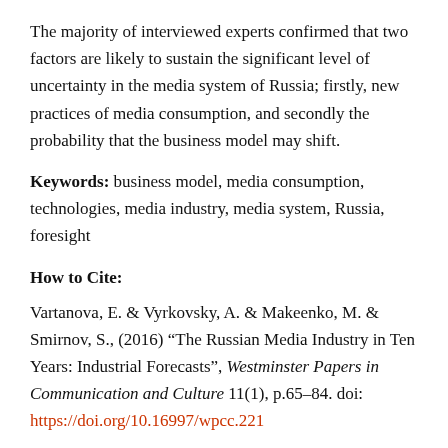The majority of interviewed experts confirmed that two factors are likely to sustain the significant level of uncertainty in the media system of Russia; firstly, new practices of media consumption, and secondly the probability that the business model may shift.
Keywords: business model, media consumption, technologies, media industry, media system, Russia, foresight
How to Cite:
Vartanova, E. & Vyrkovsky, A. & Makeenko, M. & Smirnov, S., (2016) "The Russian Media Industry in Ten Years: Industrial Forecasts", Westminster Papers in Communication and Culture 11(1), p.65–84. doi: https://doi.org/10.16997/wpcc.221
Downloads: